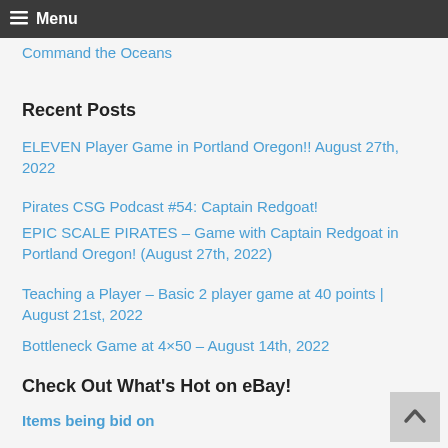Menu
Command the Oceans
Recent Posts
ELEVEN Player Game in Portland Oregon!! August 27th, 2022
Pirates CSG Podcast #54: Captain Redgoat!
EPIC SCALE PIRATES – Game with Captain Redgoat in Portland Oregon! (August 27th, 2022)
Teaching a Player – Basic 2 player game at 40 points | August 21st, 2022
Bottleneck Game at 4×50 – August 14th, 2022
Check Out What's Hot on eBay!
Items being bid on